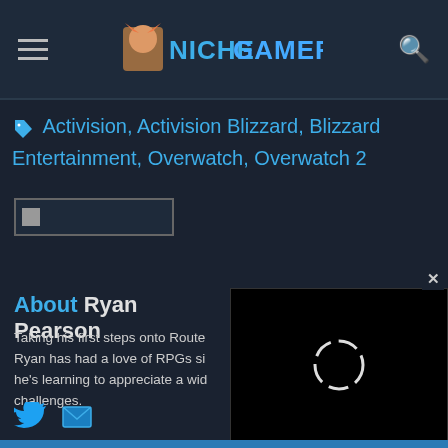Niche Gamer — navigation header with hamburger menu and search icon
Activision, Activision Blizzard, Blizzard Entertainment, Overwatch, Overwatch 2
[Figure (screenshot): Share button placeholder image]
[Figure (screenshot): Video player overlay with loading spinner and close button]
About Ryan Pearson
Taking his first steps onto Route... Ryan has had a love of RPGs si... he's learning to appreciate a wid... challenges.
[Figure (other): Twitter and email social icons]